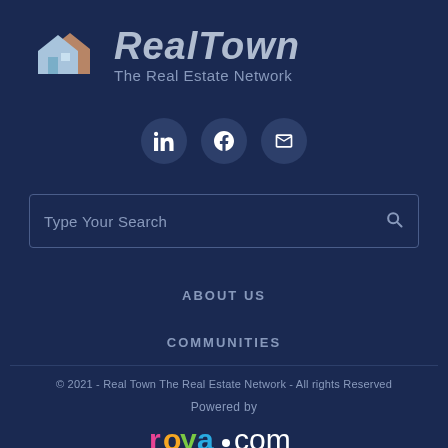[Figure (logo): RealTown The Real Estate Network logo with house icon and stylized text]
[Figure (other): Social media icons: LinkedIn, Facebook, Email/Envelope in dark circular buttons]
Type Your Search
ABOUT US
COMMUNITIES
© 2021 - Real Town The Real Estate Network - All rights Reserved
Powered by
roya.com